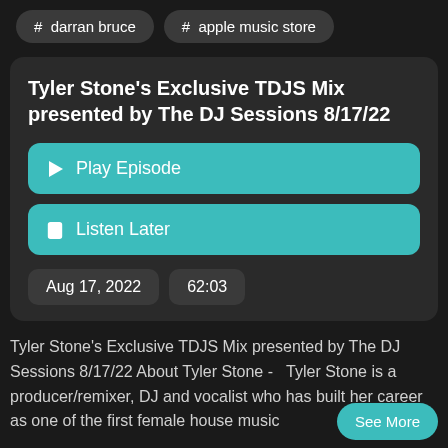# darran bruce
# apple music store
Tyler Stone's Exclusive TDJS Mix presented by The DJ Sessions 8/17/22
Play Episode
Listen Later
Aug 17, 2022
62:03
Tyler Stone's Exclusive TDJS Mix presented by The DJ Sessions 8/17/22 About Tyler Stone -  Tyler Stone is a producer/remixer, DJ and vocalist who has built her career as one of the first female house music
See More